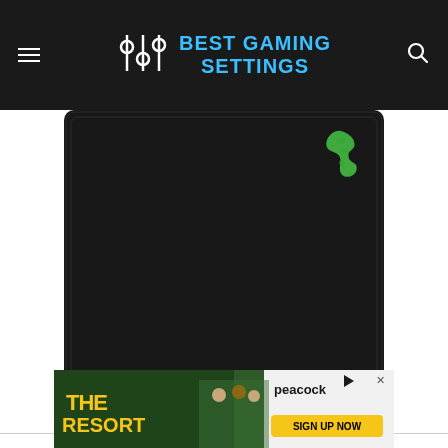BEST GAMING SETTINGS
[Figure (photo): Razer Gigantus large black gaming mouse pad with Razer logo in green in the top right corner]
Razer Gigantus
[Figure (photo): Advertisement banner for 'The Resort' on Peacock - Sign Up Now]